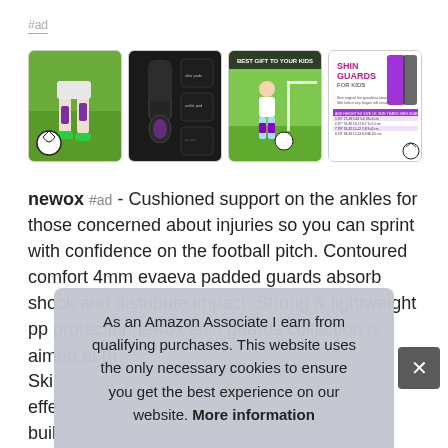#ad
[Figure (photo): Four product thumbnail images of shin guards for kids: 1) soccer player on field with ball, 2) black and purple shin guard product shots on dark background, 3) child near soccer goal with purple shin guards, 4) shin guards product info sheet with size chart]
newox #ad - Cushioned support on the ankles for those concerned about injuries so you can sprint with confidence on the football pitch. Contoured comfort 4mm evaeva padded guards absorb shock and distribute impact. Strong & lightweight pp protectionnewox shin guards collection is aimed at th
Ski effe buil
As an Amazon Associate I earn from qualifying purchases. This website uses the only necessary cookies to ensure you get the best experience on our website. More information